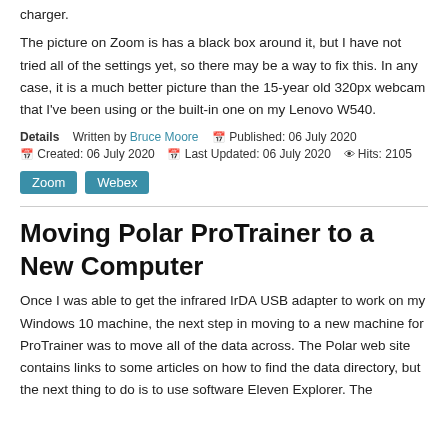charger.
The picture on Zoom is has a black box around it, but I have not tried all of the settings yet, so there may be a way to fix this. In any case, it is a much better picture than the 15-year old 320px webcam that I've been using or the built-in one on my Lenovo W540.
Details   Written by Bruce Moore   Published: 06 July 2020   Created: 06 July 2020   Last Updated: 06 July 2020   Hits: 2105
Zoom
Webex
Moving Polar ProTrainer to a New Computer
Once I was able to get the infrared IrDA USB adapter to work on my Windows 10 machine, the next step in moving to a new machine for ProTrainer was to move all of the data across. The Polar web site contains links to some articles on how to find the data directory, but the next thing to do is to use software Eleven Explorer. The